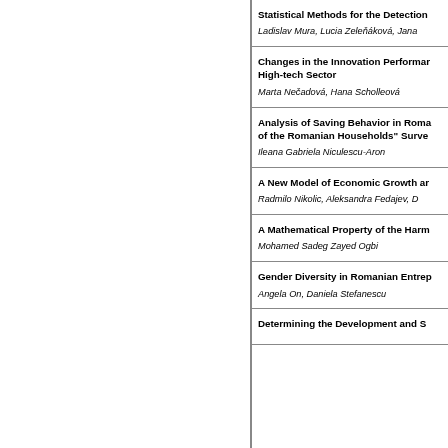Statistical Methods for the Detection
Ladislav Mura, Lucia Zeleňáková, Jana
Changes in the Innovation Performance High-tech Sector
Marta Nečadová, Hana Scholleová
Analysis of Saving Behavior in Roma of the Romanian Households" Surve
Ileana Gabriela Niculescu-Aron
A New Model of Economic Growth ar
Radmilo Nikolic, Aleksandra Fedajev, D
A Mathematical Property of the Harm
Mohamed Sadeg Zayed Ogbi
Gender Diversity in Romanian Entrep
Angela On, Daniela Stefanescu
Determining the Development and S